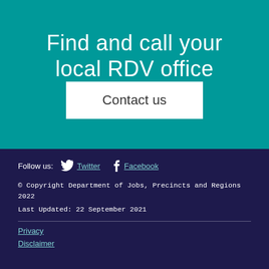Find and call your local RDV office
Contact us
Follow us:  Twitter  Facebook
© Copyright Department of Jobs, Precincts and Regions 2022
Last Updated: 22 September 2021
Privacy
Disclaimer